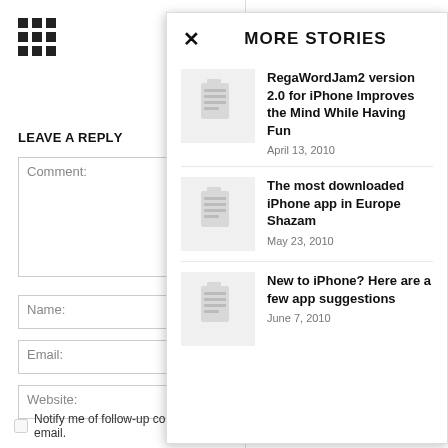[Figure (other): 3x3 grid of black squares icon]
LEAVE A REPLY
Comment:
Name:
Email:
Website:
MORE STORIES
RegaWordJam2 version 2.0 for iPhone Improves the Mind While Having Fun
April 13, 2010
The most downloaded iPhone app in Europe Shazam
May 23, 2010
New to iPhone? Here are a few app suggestions
June 7, 2010
Notify me of follow-up comments by email.